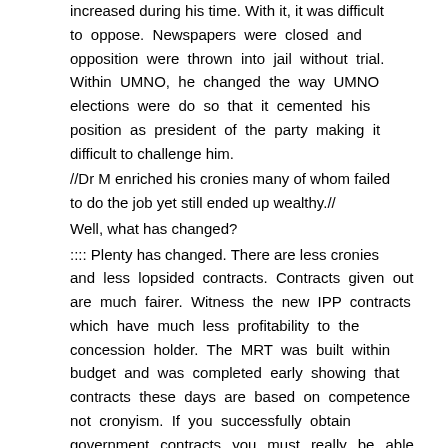increased during his time. With it, it was difficult to oppose. Newspapers were closed and opposition were thrown into jail without trial. Within UMNO, he changed the way UMNO elections were do so that it cemented his position as president of the party making it difficult to challenge him.
//Dr M enriched his cronies many of whom failed to do the job yet still ended up wealthy.//
Well, what has changed?
:::: Plenty has changed. There are less cronies and less lopsided contracts. Contracts given out are much fairer. Witness the new IPP contracts which have much less profitability to the concession holder. The MRT was built within budget and was completed early showing that contracts these days are based on competence not cronyism. If you successfully obtain government contracts you must really be able to execute not like PSCI. Under Najib there are no more APs for cronies.
//We still have those very same problems TODAY long long after Mahatir has been gone :)